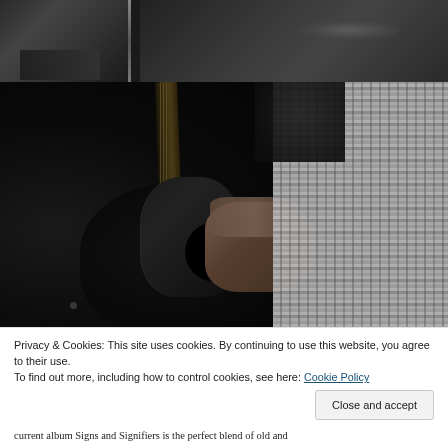[Figure (photo): Black and white photo at top showing musicians performing on stage, dark background]
[Figure (photo): Large black and white close-up photo of someone playing an acoustic guitar, with a plaid shirt visible on the right side]
Privacy & Cookies: This site uses cookies. By continuing to use this website, you agree to their use.
To find out more, including how to control cookies, see here: Cookie Policy
current album Signs and Signifiers is the perfect blend of old and